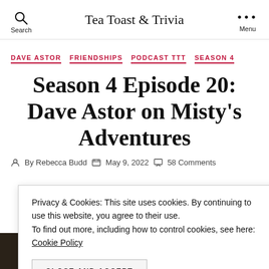Tea Toast & Trivia
DAVE ASTOR
FRIENDSHIPS
PODCAST TTT
SEASON 4
Season 4 Episode 20: Dave Astor on Misty’s Adventures
By Rebecca Budd   May 9, 2022   58 Comments
Privacy & Cookies: This site uses cookies. By continuing to use this website, you agree to their use.
To find out more, including how to control cookies, see here: Cookie Policy
CLOSE AND ACCEPT